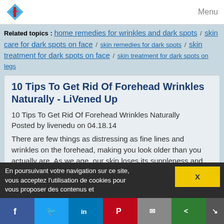Menu
Related topics : home remedies for wrinkles and dark spots / skin care for dark spots on face / skin remedies for dark spots / skin treatment for dark spots on face / skin treatment for dark spots on legs
10 Tips To Get Rid Of Forehead Wrinkles Naturally - LiVened Up
10 Tips To Get Rid Of Forehead Wrinkles Naturally
Posted by livenedu on 04.18.14
There are few things as distressing as fine lines and wrinkles on the forehead, making you look older than you actually are. As we age, our skin loses its suppleness and elasticity. Laughter lines and creases begin to set in.
You need to completely overhaul your existing lifestyle if you want to delay the appearance...
Read more
Date: 2017-02-17 21:50:20
En poursuivant votre navigation sur ce site, vous acceptez l'utilisation de cookies pour vous proposer des contenus et
X